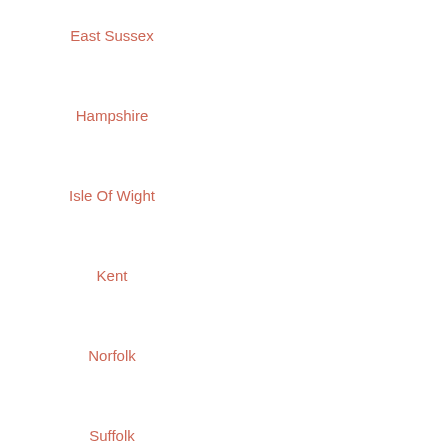East Sussex
Hampshire
Isle Of Wight
Kent
Norfolk
Suffolk
West Sussex
Midlands
Derbyshire
Herefordshire
Lincolnshire
Shropshire
Staffordshire
Monmouthshire
Pembrokeshire
Powys
Scotland
Argyll and Bute
Dumfries And Galloway
Fife
Highlands
Moray
Perth And Kinross
Ireland